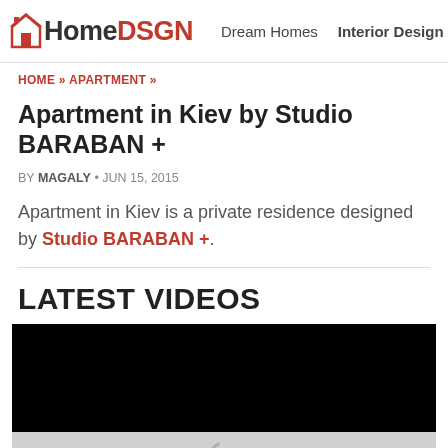HomeDSGN | Dream Homes | Interior Design
HOME » APARTMENT »
Apartment in Kiev by Studio BARABAN +
BY MAGALY • JUN 15, 2015
Apartment in Kiev is a private residence designed by Studio BARABAN +.
LATEST VIDEOS
[Figure (other): Black video player rectangle with loading spinner below]